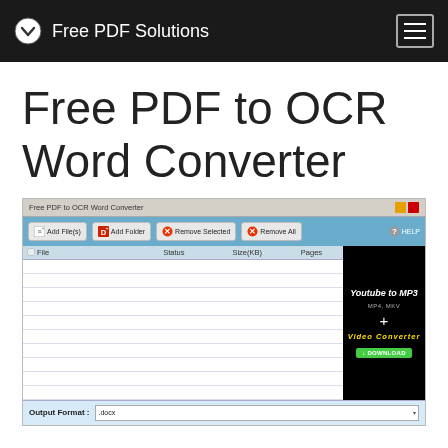Free PDF Solutions
Free PDF to OCR Word Converter
[Figure (screenshot): Screenshot of 'Free PDF to OCR Word Converter' application window showing toolbar with Add File(s), Add Folder, Remove Selected, Remove All, and HELP buttons, a file list panel with columns File, Status, Size(KB), Pages, an empty file list area, an advertisement panel for 'Youtube to MP3 MP4, MKV + Video Converter' with a download button, and an Output Format dropdown set to .docx]